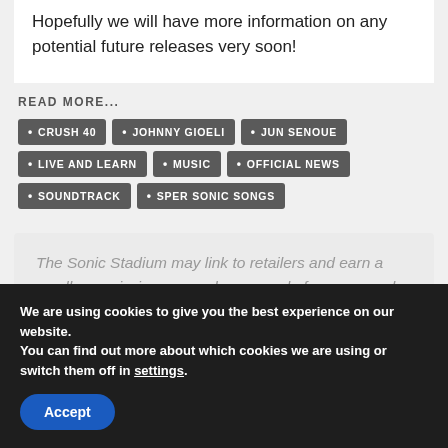Hopefully we will have more information on any potential future releases very soon!
READ MORE...
CRUSH 40
JOHNNY GIOELI
JUN SENOUE
LIVE AND LEARN
MUSIC
OFFICIAL NEWS
SOUNDTRACK
SPER SONIC SONGS
The Sonic Stadium may link to retailers and earn a small commission on purchases made from users who click those links.
We are using cookies to give you the best experience on our website.
You can find out more about which cookies we are using or switch them off in settings.